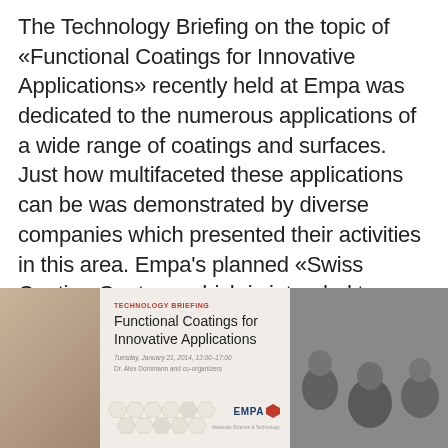The Technology Briefing on the topic of «Functional Coatings for Innovative Applications» recently held at Empa was dedicated to the numerous applications of a wide range of coatings and surfaces. Just how multifaceted these applications can be was demonstrated by diverse companies which presented their activities in this area. Empa's planned «Swiss Coating Centre», which is intended to accelerate technology transfer between research and industry in this field (which is of vital importance for Switzerland) was also introduced.
[Figure (photo): Photo of a technology briefing event at Empa showing a presentation slide for 'Functional Coatings for Innovative Applications', with a honeycomb/network material illustration, EMPA logo, and audience members visible on the right side.]